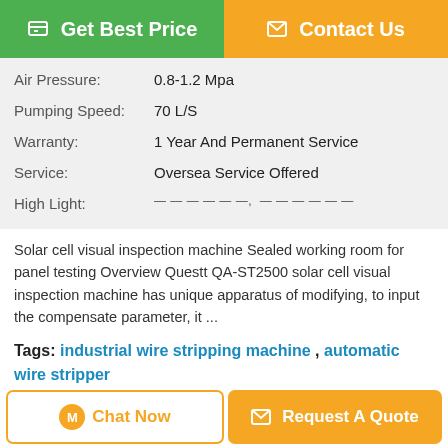[Figure (screenshot): Top navigation buttons: green 'Get Best Price' button and orange 'Contact Us' button]
| Air Pressure: | 0.8-1.2 Mpa |
| Pumping Speed: | 70 L/S |
| Warranty: | 1 Year And Permanent Service |
| Service: | Oversea Service Offered |
| High Light: | — — — — —, — — — — — — |
Solar cell visual inspection machine Sealed working room for panel testing Overview Questt QA-ST2500 solar cell visual inspection machine has unique apparatus of modifying, to input the compensate parameter, it ...
Tags: industrial wire stripping machine , automatic wire stripper , scrap wire stripping machine
Product Description >
Get the Best Price for
[Figure (screenshot): Bottom buttons: 'Chat Now' and 'Request A Quote']